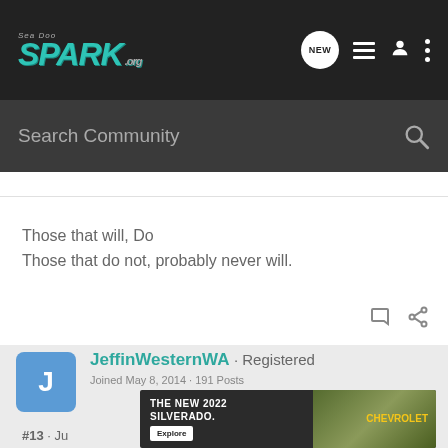[Figure (screenshot): Sea Doo Spark .org website header with teal/green logo on dark background, navigation icons including NEW chat bubble, list icon, user icon, and three-dot menu]
Search Community
Those that will, Do
Those that do not, probably never will.
JeffinWesternWA · Registered
Joined May 8, 2014 · 191 Posts
#13 · Ju
[Figure (screenshot): Chevrolet advertisement banner: THE NEW 2022 SILVERADO. with Explore button and Chevrolet logo, truck visible in background]